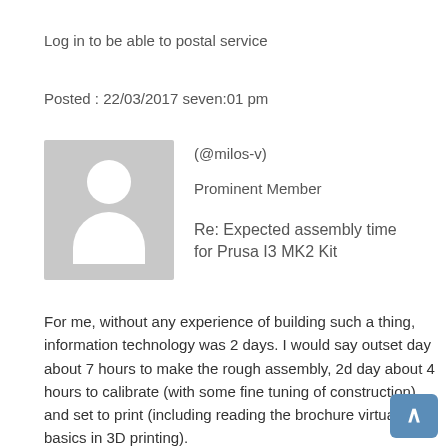Log in to be able to postal service
Posted : 22/03/2017 seven:01 pm
[Figure (illustration): Default user avatar placeholder — grey square with white silhouette of a person (circle head and rounded body)]
(@milos-v)
Prominent Member
Re: Expected assembly time for Prusa I3 MK2 Kit
For me, without any experience of building such a thing, information technology was 2 days. I would say outset day about 7 hours to make the rough assembly, 2d day about 4 hours to calibrate (with some fine tuning of construction) and set to print (including reading the brochure virtually basics in 3D printing).
But information technology was during Christmas, when man must do much more than other things.
Need to say, that I had to stop after 7 hours and leave it for the second day, the concentration was already bad. Things similar cable